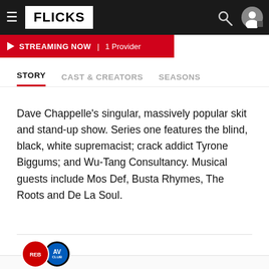FLICKS
STREAMING NOW | 1 Provider
STORY   CAST & CREATORS   SEASONS
Dave Chappelle's singular, massively popular skit and stand-up show. Series one features the blind, black, white supremacist; crack addict Tyrone Biggums; and Wu-Tang Consultancy. Musical guests include Mos Def, Busta Rhymes, The Roots and De La Soul.
6 REVIEWS